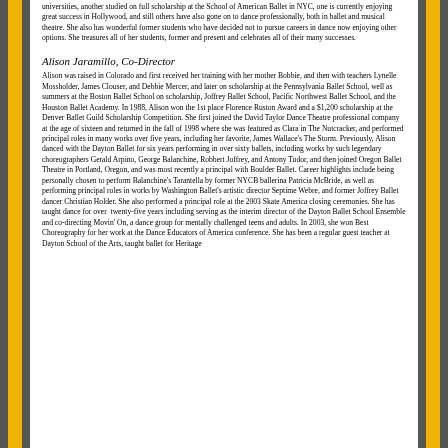universities, another studied on full scholarship at the School of American Ballet in NYC, one is currently enjoying great success in Hollywood, and still others have also gone on to dance professionally, both in ballet and musical theatre. She also has wonderful former students who have decided not to pursue careers in dance now enjoying other options. She treasures all of her students, former and present and celebrates all of their many successes.
Alison Jaramillo, Co-Director
Alison was raised in Colorado and first received her training with her mother Bobbie, and then with teachers Lynelle Mossholder, James Clouser, and Debbie Mercer, and later on scholarship at the Pennsylvania Ballet School, well as summers at the Boston Ballet School on scholarship, Joffrey Ballet School, Pacific Northwest Ballet School, and the Houston Ballet Academy. In 1988, Alison won the 1st place Florence Ruston Award and a $1,200 scholarship at the Denver Ballet Guild Scholarship Competition. She first joined the David Taylor Dance Theatre professional company at the age of sixteen and returned in the fall of 1998 where she was featured as Clara in The Nutcracker, and performed principal roles in many works over five years, including her favorite, James Wallace's The Storm. Previously, Alison danced with the Dayton Ballet for six years performing in over sixty ballets, including works by such legendary choreographers Gerald Arpino, George Balanchine, Robbert Joffrey, and Antony Tudor, and then joined Oregon Ballet Theatre in Portland, Oregon, and was most recently a principal with Boulder Ballet. Career highlights include being personally chosen to perform Balanchine's Tarantella by former NYCB ballerina Patricia McBride, as well as performing principal roles in works by Washington Ballet's artistic director Septime Webre, and former Joffrey Ballet dancer Christian Holder. She also performed a principal role at the 2003 Skate America closing ceremonies. She has taught dance for over twenty-five years including serving as the interim director of the Dayton Ballet School Ensemble and co-directing Movin' On, a dance group for mentally challenged teens and adults. In 2003, she won Best Choreography for her work at the Dance Educators of America conference. She has been a regular guest teacher at Dayton School of the Arts, taught ballet for Heritage